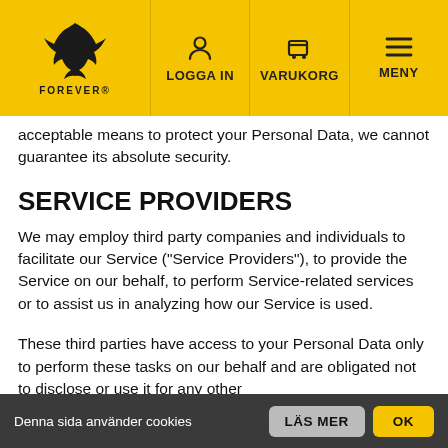FOREVER® | LOGGA IN | VARUKORG | MENY
acceptable means to protect your Personal Data, we cannot guarantee its absolute security.
SERVICE PROVIDERS
We may employ third party companies and individuals to facilitate our Service ("Service Providers"), to provide the Service on our behalf, to perform Service-related services or to assist us in analyzing how our Service is used.
These third parties have access to your Personal Data only to perform these tasks on our behalf and are obligated not to disclose or use it for any other
Denna sida använder cookies LÄS MER OK